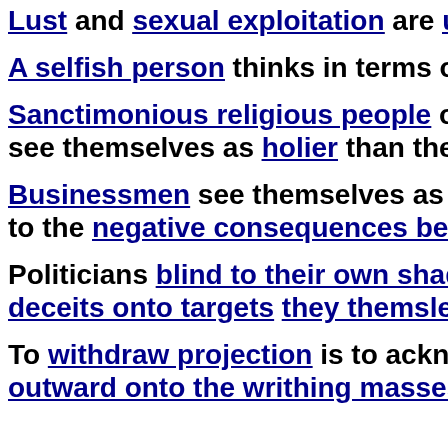Lust and sexual exploitation are uninhibite...
A selfish person thinks in terms of realistica...
Sanctimonious religious people of every sec... see themselves as holier than the "sinners"...
Businessmen see themselves as elite power b... to the negative consequences befalling fello...
Politicians blind to their own shadows proj... deceits onto targets they themsleves indenti...
To withdraw projection is to acknowledge t... outward onto the writhing masses belong te...